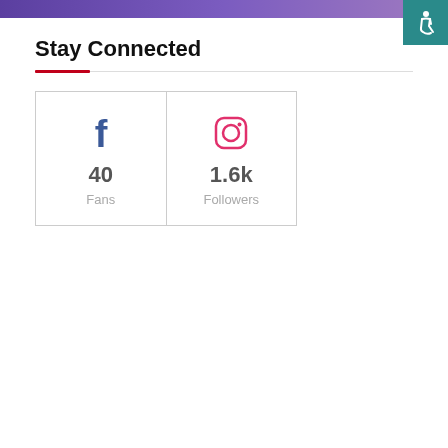[Figure (illustration): Top banner with purple gradient and accessibility icon (wheelchair symbol) in teal square at top right]
Stay Connected
[Figure (infographic): Social media stats widget showing Facebook with 40 Fans and Instagram with 1.6k Followers in a two-cell grid layout]